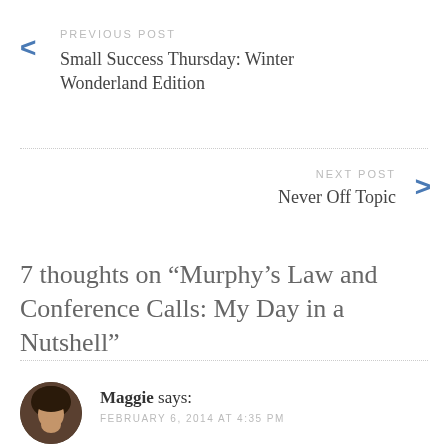PREVIOUS POST
Small Success Thursday: Winter Wonderland Edition
NEXT POST
Never Off Topic
7 thoughts on “Murphy’s Law and Conference Calls: My Day in a Nutshell”
Maggie says:
FEBRUARY 6, 2014 AT 4:35 PM